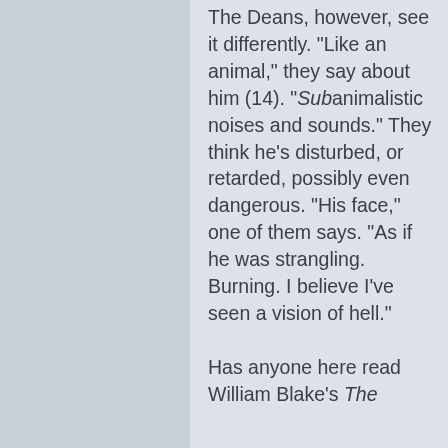The Deans, however, see it differently. "Like an animal," they say about him (14). "Subanimalistic noises and sounds." They think he's disturbed, or retarded, possibly even dangerous. "His face," one of them says. "As if he was strangling. Burning. I believe I've seen a vision of hell."

Has anyone here read William Blake's The